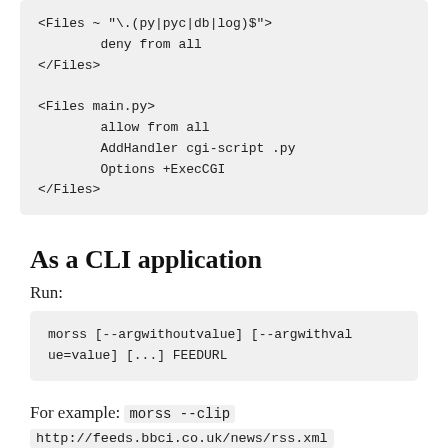<Files ~ "\.( py|pyc|db|log)$">
        deny from all
</Files>

<Files main.py>
        allow from all
        AddHandler cgi-script .py
        Options +ExecCGI
</Files>
As a CLI application
Run:
morss [--argwithoutvalue] [--argwithvalue=value] [...] FEEDURL
For example: morss --clip
http://feeds.bbci.co.uk/news/rss.xml